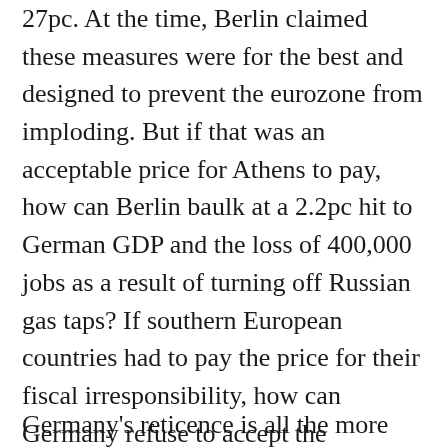27pc. At the time, Berlin claimed these measures were for the best and designed to prevent the eurozone from imploding. But if that was an acceptable price for Athens to pay, how can Berlin baulk at a 2.2pc hit to German GDP and the loss of 400,000 jobs as a result of turning off Russian gas taps? If southern European countries had to pay the price for their fiscal irresponsibility, how can Germany refuse to accept the consequences of its geopolitical naivety?
Germany's reticence is all the more galling as it